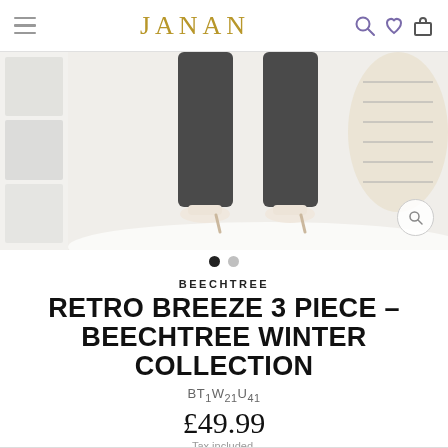JANAN
[Figure (photo): E-commerce product page screenshot showing bottom half of a model wearing dark trousers and cream open-toe heels, with a cream patterned bag visible. The image has a light grey background with thumbnail images on the left side and a magnify button overlay.]
BEECHTREE
RETRO BREEZE 3 PIECE - BEECHTREE WINTER COLLECTION
BT1W21U41
£49.99
Tax included.